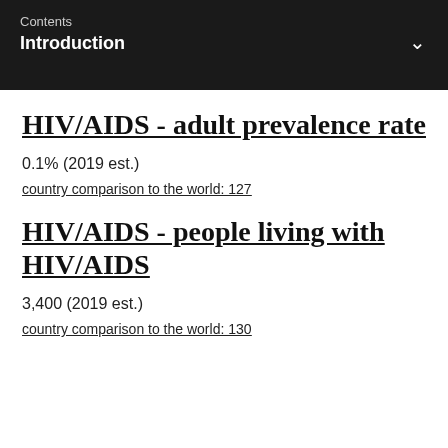Contents
Introduction
HIV/AIDS - adult prevalence rate
0.1% (2019 est.)
country comparison to the world: 127
HIV/AIDS - people living with HIV/AIDS
3,400 (2019 est.)
country comparison to the world: 130